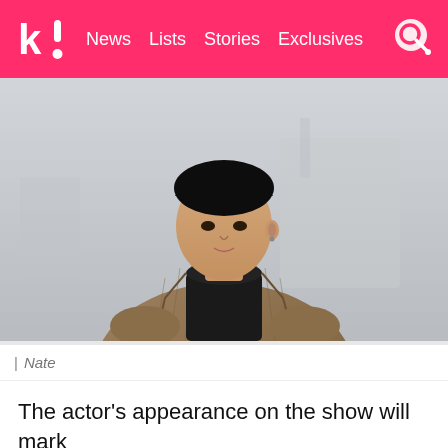k! News Lists Stories Exclusives
[Figure (photo): Young Asian male actor wearing a brown houndstooth coat over a black turtleneck, photographed outdoors with a blurred architectural background. Photo credit: Nate]
| Nate
The actor's appearance on the show will mark